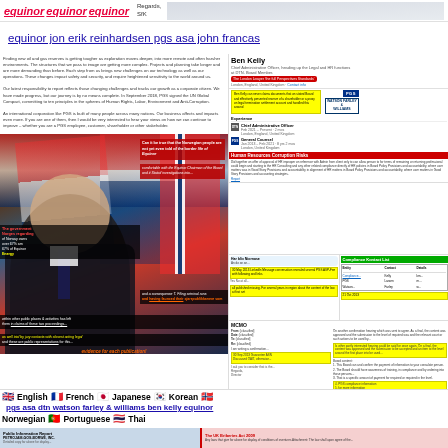equinor equinor equinor   Regards, SfK
equinor jon erik reinhardsen pgs asa john francas
Finding new oil and gas reserves is getting tougher as exploration moves deeper, into more remote and often harsher environments. The structures that we pass to image are getting more complex. Projects and planning take longer and are more demanding than before. Each step from us brings new challenges on our technology as well as our operations. These changes impact safety and security, and require heightened sensitivity to the world around us. Our latest responsibility to report reflects those changing challenges and tracks our growth as a corporate citizen. We have made progress, but our journey is by no means complete. In September 2018, PGS signed the UN Global Compact, committing to ten principles in the spheres of Human Rights, Labor, Environment and Anti-Corruption. An international corporation like PGS is built of many people across many nations. Our business affects and impacts even more. If you are one of them, then I would be very interested to hear your views on how we can continue to improve – whether you are a PGS employee, customer, shareholder or other stakeholder. Jiri G.H. Reinhardsen President and CEO
[Figure (photo): Photo of a man in a dark suit in front of Chilean/Norwegian flags with text overlays about Norwegian people, Equinor Chairman, criminal runs, and public claims]
[Figure (screenshot): LinkedIn profile of Ben Kelly, Chief Administrative Officer heading Legal and HR functions at DTN, Board Member. Shows experience including Chief Administrative Officer and General Counsel roles. Includes logos for PGS, Watson Farley & Williams, and College of Law. Contains yellow highlighted text about legal documents and corruption risks.]
[Figure (screenshot): MEMO document with yellow highlighted sections, green and red header boxes showing Compliance Kontact Ltd and related correspondence about PGS ASP-Fee with references to October 2013]
English   French   Japanese   Korean
pgs asa dtn watson farley & williams ben kelly equinor
Norwegian   Portuguese   Thai
[Figure (screenshot): Bottom document bar showing Public Information Report PETROJAM-GOS-BORNE INC on left and The UK Briberies Act 2009 text on right]